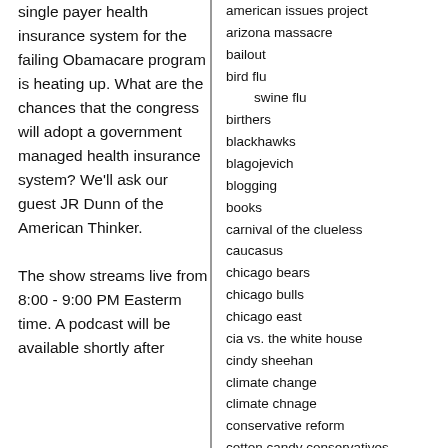single payer health insurance system for the failing Obamacare program is heating up. What are the chances that the congress will adopt a government managed health insurance system? We'll ask our guest JR Dunn of the American Thinker.

The show streams live from 8:00 - 9:00 PM Easterm time. A podcast will be available shortly after
american issues project
arizona massacre
bailout
bird flu
swine flu
birthers
blackhawks
blagojevich
blogging
books
carnival of the clueless
caucasus
chicago bears
chicago bulls
chicago east
cia vs. the white house
cindy sheehan
climate change
climate chnage
conservative reform
cotton candy conservatives
cpac conference
culture
debt ceiling
decision '08
decision 2010
decision 2012
deficit reduction
election '06
entitlement crisis
environment
ethics
fairness doctrine